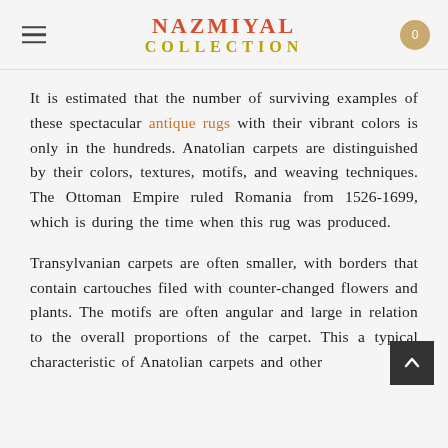Nazmiyal Collection
It is estimated that the number of surviving examples of these spectacular antique rugs with their vibrant colors is only in the hundreds. Anatolian carpets are distinguished by their colors, textures, motifs, and weaving techniques. The Ottoman Empire ruled Romania from 1526-1699, which is during the time when this rug was produced.
Transylvanian carpets are often smaller, with borders that contain cartouches filed with counter-changed flowers and plants. The motifs are often angular and large in relation to the overall proportions of the carpet. This a typical characteristic of Anatolian carpets and other…